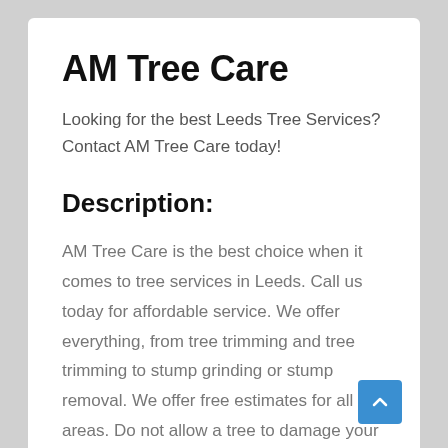AM Tree Care
Looking for the best Leeds Tree Services? Contact AM Tree Care today!
Description:
AM Tree Care is the best choice when it comes to tree services in Leeds. Call us today for affordable service. We offer everything, from tree trimming and tree trimming to stump grinding or stump removal. We offer free estimates for all areas. Do not allow a tree to damage your home or business. Professionals should remove it immediately. Professional services are what we take great pride in. We have the right equipment and years of experience to handle any Leeds tree